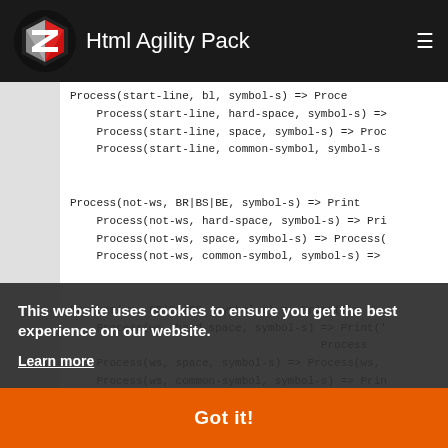Html Agility Pack
Process(start-line, bl, symbol-s) => Proce
    Process(start-line, hard-space, symbol-s) =>
    Process(start-line, space, symbol-s) => Proc
    Process(start-line, common-symbol, symbol-s

Process(not-ws, BR|BS|BE, symbol-s) => Print
    Process(not-ws, hard-space, symbol-s) => Pri
    Process(not-ws, space, symbol-s) => Process(
    Process(not-ws, common-symbol, symbol-s) =>

Process(ws, BR|BS|BE, symbol-s) => Print('\n
    Process(ws, hard-space, symbol-s) => Print('
                                          Process
    Process(ws, space, symbol-s) => Process(ws,
    Process(ws, common-symbol, symbol-s) => Prin
                                          Proc
This website uses cookies to ensure you get the best experience on our website.
Learn more
Got it!